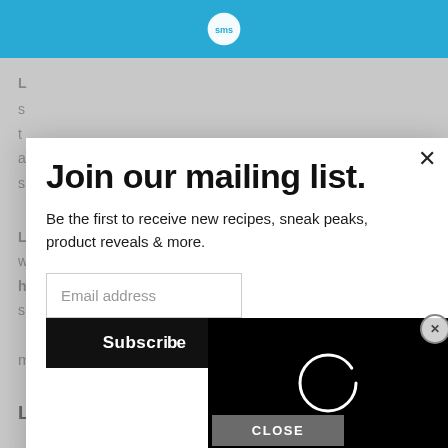SMS logo header bar
mixture is thick.  Take off the heat and set aside.
Join our mailing list.
Be the first to receive new recipes, sneak peaks, product reveals & more.
Email address
Subscribe
CLOSE